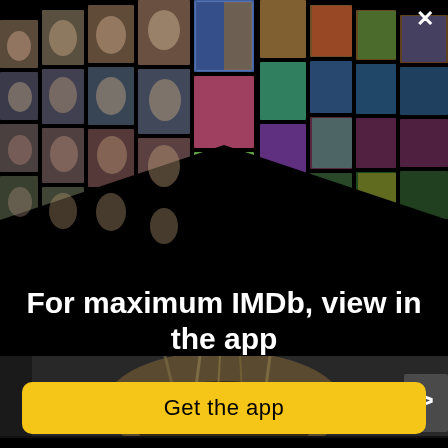[Figure (photo): IMDb app promotional banner showing a collage/mosaic of celebrity photos and movie posters arranged in a V-shape perspective on black background, with a close (X) button in top right]
For maximum IMDb, view in the app
[Figure (other): Yellow rounded rectangle button labeled 'Get the app']
[Figure (photo): Bottom portion showing a close-up of a person with blonde hair and dark eyes peeking up, from a movie or show. A right arrow (>) navigation button is visible on the right side.]